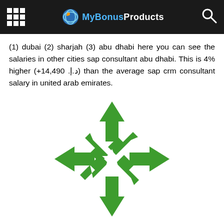MyBonusProducts
(1) dubai (2) sharjah (3) abu dhabi here you can see the salaries in other cities sap consultant abu dhabi. This is 4% higher (+14,490 .د.إ) than the average sap crm consultant salary in united arab emirates.
[Figure (illustration): Green four-directional arrow icon (move cursor icon) on white background]